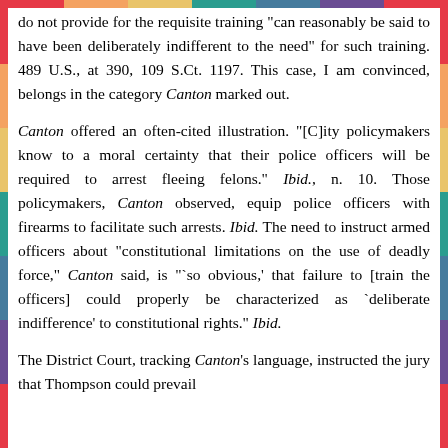do not provide for the requisite training "can reasonably be said to have been deliberately indifferent to the need" for such training. 489 U.S., at 390, 109 S.Ct. 1197. This case, I am convinced, belongs in the category Canton marked out.
Canton offered an often-cited illustration. "[C]ity policymakers know to a moral certainty that their police officers will be required to arrest fleeing felons." Ibid., n. 10. Those policymakers, Canton observed, equip police officers with firearms to facilitate such arrests. Ibid. The need to instruct armed officers about "constitutional limitations on the use of deadly force," Canton said, is "`so obvious,' that failure to [train the officers] could properly be characterized as `deliberate indifference' to constitutional rights." Ibid.
The District Court, tracking Canton's language, instructed the jury that Thompson could prevail